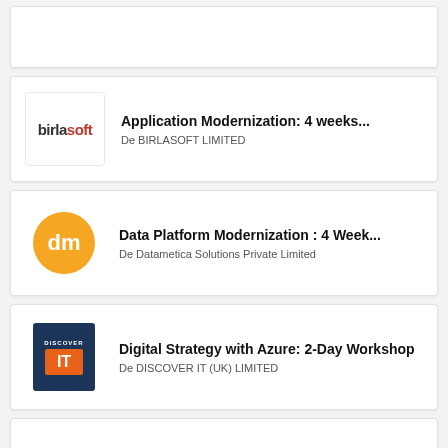(partial card, top)
Application Modernization: 4 weeks... | De BIRLASOFT LIMITED
Data Platform Modernization : 4 Week... | De Datametica Solutions Private Limited
Digital Strategy with Azure: 2-Day Workshop | De DISCOVER IT (UK) LIMITED
Sitecore on Azure PaaS - 1 hr Assessment | De Valtech SE (NL)